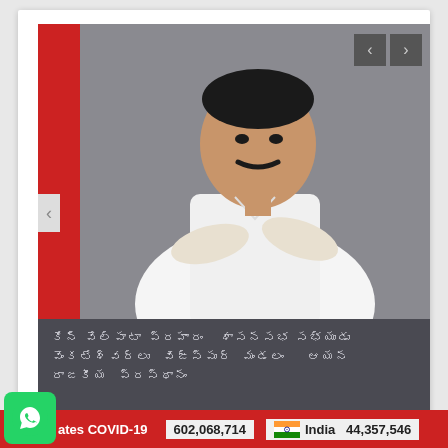[Figure (photo): Man in white shirt with arms crossed, photo on gray background with red left bar and dark caption band below]
Telugu script text lines (caption about a person/political figure)
FOLLOW US
[Figure (logo): Facebook icon button (blue)]
[Figure (logo): Twitter bird icon button (light blue)]
[Figure (logo): WhatsApp logo green button]
ates COVID-19
602,068,714
India  44,357,546